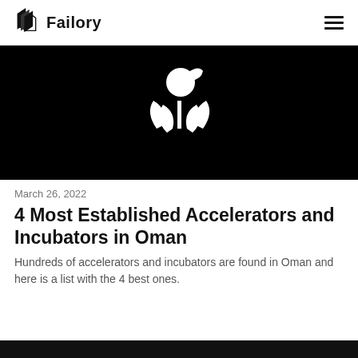Failory
[Figure (illustration): Black background hero image with a white watering can and plant sprout icon centered]
March 26, 2022
4 Most Established Accelerators and Incubators in Oman
Hundreds of accelerators and incubators are found in Oman and here is a list with the 4 best ones.